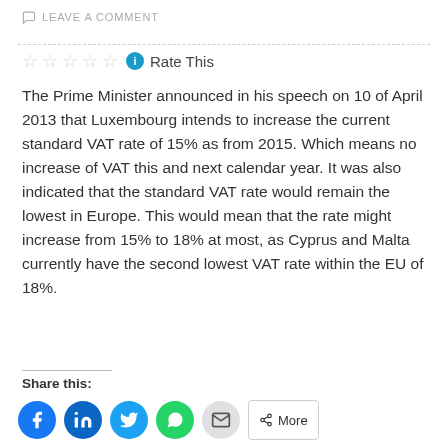LEAVE A COMMENT
Rate This
The Prime Minister announced in his speech on 10 of April 2013 that Luxembourg intends to increase the current standard VAT rate of 15% as from 2015. Which means no increase of VAT this and next calendar year. It was also indicated that the standard VAT rate would remain the lowest in Europe. This would mean that the rate might increase from 15% to 18% at most, as Cyprus and Malta currently have the second lowest VAT rate within the EU of 18%.
Share this: